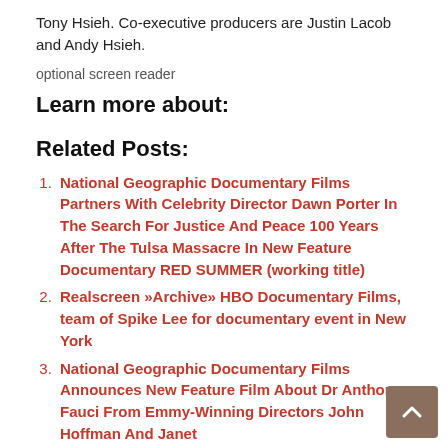Tony Hsieh. Co-executive producers are Justin Lacob and Andy Hsieh.
optional screen reader
Learn more about:
Related Posts:
National Geographic Documentary Films Partners With Celebrity Director Dawn Porter In The Search For Justice And Peace 100 Years After The Tulsa Massacre In New Feature Documentary RED SUMMER (working title)
Realscreen »Archive» HBO Documentary Films, team of Spike Lee for documentary event in New York
National Geographic Documentary Films Announces New Feature Film About Dr Anthony Fauci From Emmy-Winning Directors John Hoffman And Janet